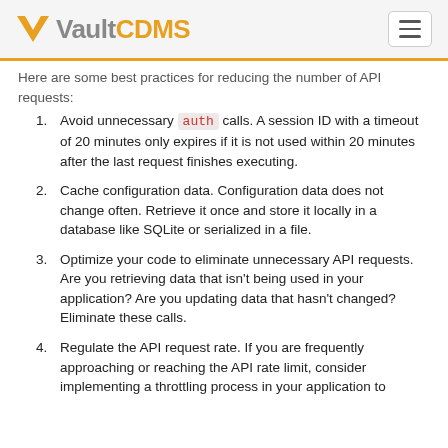Vault CDMS
Here are some best practices for reducing the number of API requests:
Avoid unnecessary auth calls. A session ID with a timeout of 20 minutes only expires if it is not used within 20 minutes after the last request finishes executing.
Cache configuration data. Configuration data does not change often. Retrieve it once and store it locally in a database like SQLite or serialized in a file.
Optimize your code to eliminate unnecessary API requests. Are you retrieving data that isn't being used in your application? Are you updating data that hasn't changed? Eliminate these calls.
Regulate the API request rate. If you are frequently approaching or reaching the API rate limit, consider implementing a throttling process in your application to